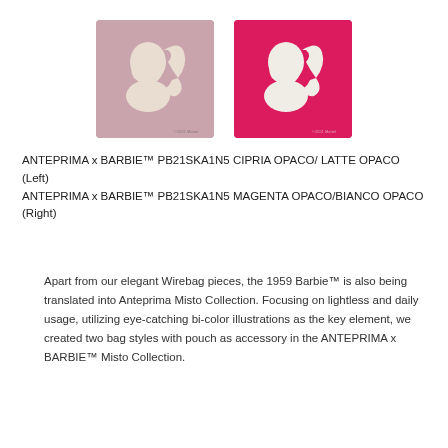[Figure (photo): Two square textile/fabric bags side by side. Left bag: dusty pink/mauve background with cream/off-white Barbie silhouette. Right bag: bright magenta/hot pink background with white Barbie silhouette. Both feature the iconic Barbie ponytail profile silhouette.]
ANTEPRIMA x BARBIE™ PB21SKA1N5 CIPRIA OPACO/ LATTE OPACO (Left)
ANTEPRIMA x BARBIE™ PB21SKA1N5 MAGENTA OPACO/BIANCO OPACO (Right)
Apart from our elegant Wirebag pieces, the 1959 Barbie™ is also being translated into Anteprima Misto Collection. Focusing on lightless and daily usage, utilizing eye-catching bi-color illustrations as the key element, we created two bag styles with pouch as accessory in the ANTEPRIMA x BARBIE™ Misto Collection.